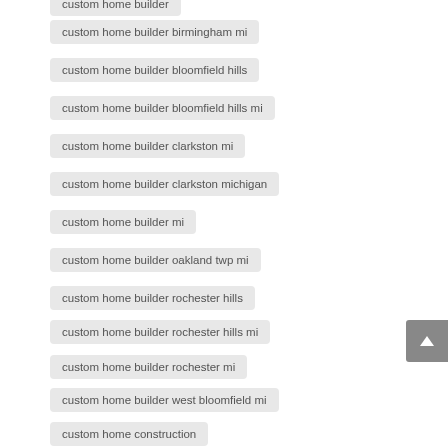custom home builder birmingham mi
custom home builder bloomfield hills
custom home builder bloomfield hills mi
custom home builder clarkston mi
custom home builder clarkston michigan
custom home builder mi
custom home builder oakland twp mi
custom home builder rochester hills
custom home builder rochester hills mi
custom home builder rochester mi
custom home builder west bloomfield mi
custom home construction
custom home design clarkston michigan
custom home developer birmingham mi
custom homes